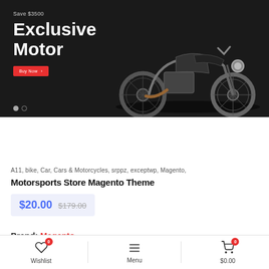[Figure (screenshot): Hero banner with dark background showing a motorcycle on the right side, text 'Save $3500 Exclusive Motor' on the left with a red 'Buy Now' button and carousel navigation dots]
[Figure (photo): Product thumbnail strip showing four motorcycle gear/accessory items: a jacket, pants/shorts, helmet, and gloves]
A11, bike, Car, Cars & Motorcycles, srppz, exceptwp, Magento,
Motorsports Store Magento Theme
$20.00 $179.00
Brand: Magento
Wishlist  0    Menu    $0.00  0